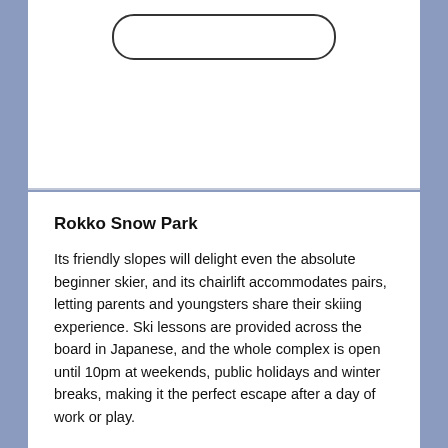[Figure (other): White card with a rounded rectangle outline near the top, representing a UI card element or placeholder graphic.]
Rokko Snow Park
Its friendly slopes will delight even the absolute beginner skier, and its chairlift accommodates pairs, letting parents and youngsters share their skiing experience. Ski lessons are provided across the board in Japanese, and the whole complex is open until 10pm at weekends, public holidays and winter breaks, making it the perfect escape after a day of work or play.